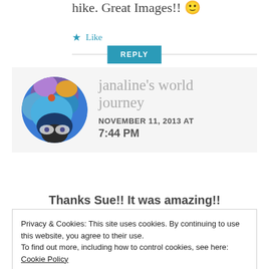hike. Great Images!! 🙂
★ Like
REPLY
[Figure (photo): Circular avatar image of janaline's world journey blogger, with colorful abstract blue and purple painting style]
janaline's world journey
NOVEMBER 11, 2013 AT 7:44 PM
Thanks Sue!! It was amazing!!
Privacy & Cookies: This site uses cookies. By continuing to use this website, you agree to their use.
To find out more, including how to control cookies, see here: Cookie Policy
Close and accept
★ Like